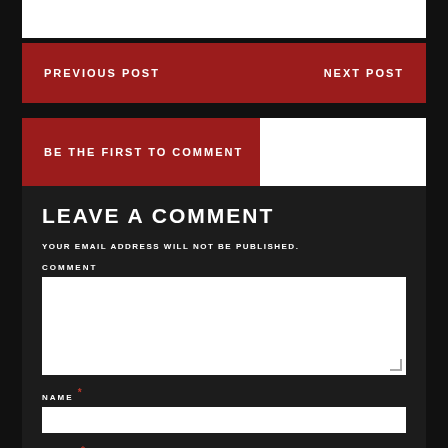PREVIOUS POST    NEXT POST
BE THE FIRST TO COMMENT
LEAVE A COMMENT
YOUR EMAIL ADDRESS WILL NOT BE PUBLISHED.
COMMENT
NAME *
EMAIL *